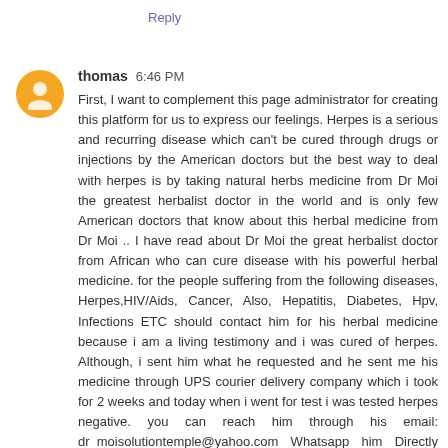Reply
thomas  6:46 PM
First, I want to complement this page administrator for creating this platform for us to express our feelings. Herpes is a serious and recurring disease which can't be cured through drugs or injections by the American doctors but the best way to deal with herpes is by taking natural herbs medicine from Dr Moi the greatest herbalist doctor in the world and is only few American doctors that know about this herbal medicine from Dr Moi .. I have read about Dr Moi the great herbalist doctor from African who can cure disease with his powerful herbal medicine. for the people suffering from the following diseases, Herpes,HIV/Aids, Cancer, Also, Hepatitis, Diabetes, Hpv, Infections ETC should contact him for his herbal medicine because i am a living testimony and i was cured of herpes. Although, i sent him what he requested and he sent me his medicine through UPS courier delivery company which i took for 2 weeks and today when i went for test i was tested herpes negative. you can reach him through his email: dr_moisolutiontemple@yahoo.com Whatsapp him Directly Through +254772376126